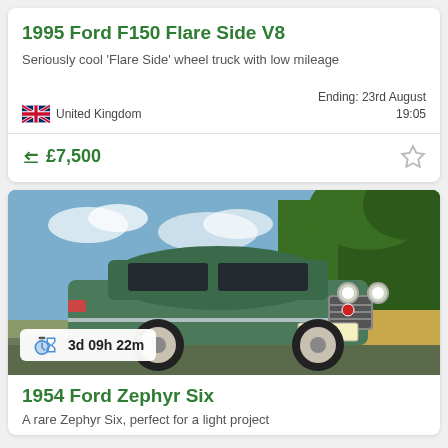1995 Ford F150 Flare Side V8
Seriously cool 'Flare Side' wheel truck with low mileage
United Kingdom
Ending: 23rd August 19:05
£7,500
[Figure (photo): 1954 Ford Zephyr Six classic green car driving on a road with trees in background, license plate UPF 853. Timer badge shows 3d 09h 22m.]
1954 Ford Zephyr Six
A rare Zephyr Six, perfect for a light project